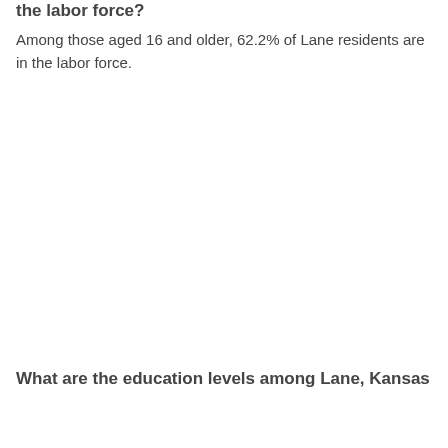the labor force?
Among those aged 16 and older, 62.2% of Lane residents are in the labor force.
What are the education levels among Lane, Kansas